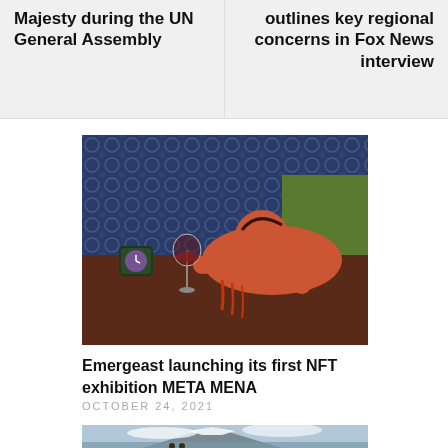Majesty during the UN General Assembly
outlines key regional concerns in Fox News interview
[Figure (illustration): Stylized illustration of a reclining orange/red figure with head resting on arms on a dark brown surface, a wine glass and clock visible, decorative patterned background]
Emergeast launching its first NFT exhibition META MENA
OCTOBER 24, 2021
[Figure (photo): Landscape photograph of a snow-capped mountain with clouds, water in the foreground and two bears visible at the bottom edge]